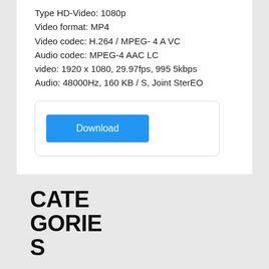Type HD-Video: 1080p
Video format: MP4
Video codec: H.264 / MPEG- 4 A VC
Audio codec: MPEG-4 AAC LC
video: 1920 x 1080, 29.97fps, 995 5kbps
Audio: 48000Hz, 160 KB / S, Joint SterEO
[Figure (other): Download button inside a rounded box]
CATEGORIES